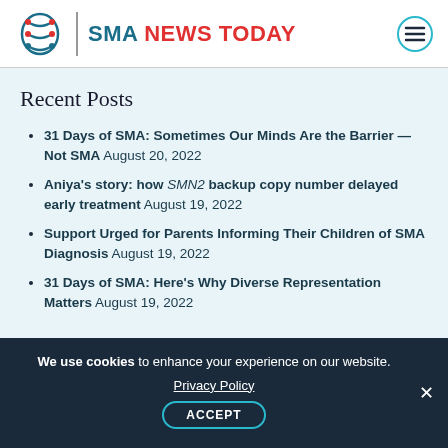SMA NEWS TODAY
Recent Posts
31 Days of SMA: Sometimes Our Minds Are the Barrier — Not SMA August 20, 2022
Aniya's story: how SMN2 backup copy number delayed early treatment August 19, 2022
Support Urged for Parents Informing Their Children of SMA Diagnosis August 19, 2022
31 Days of SMA: Here's Why Diverse Representation Matters August 19, 2022
We use cookies to enhance your experience on our website. Privacy Policy ACCEPT